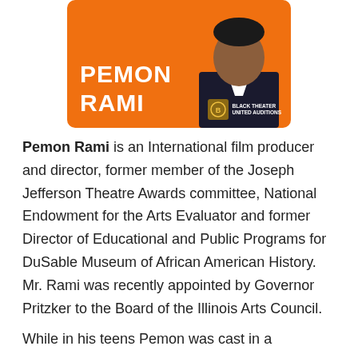[Figure (illustration): Orange card with white bold text PEMON RAMI, Black Theater United Auditions logo bottom right, photo of person top right]
Pemon Rami is an International film producer and director, former member of the Joseph Jefferson Theatre Awards committee, National Endowment for the Arts Evaluator and former Director of Educational and Public Programs for DuSable Museum of African American History. Mr. Rami was recently appointed by Governor Pritzker to the Board of the Illinois Arts Council.
While in his teens Pemon was cast in a